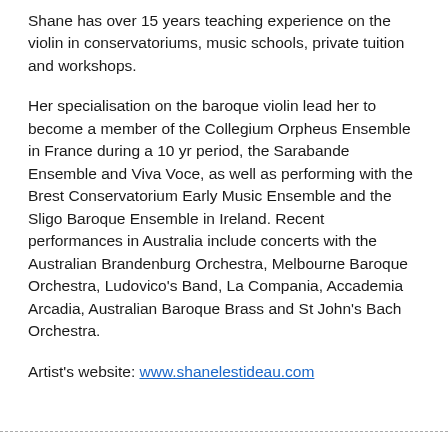Shane has over 15 years teaching experience on the violin in conservatoriums, music schools, private tuition and workshops.
Her specialisation on the baroque violin lead her to become a member of the Collegium Orpheus Ensemble in France during a 10 yr period, the Sarabande Ensemble and Viva Voce, as well as performing with the Brest Conservatorium Early Music Ensemble and the Sligo Baroque Ensemble in Ireland. Recent performances in Australia include concerts with the Australian Brandenburg Orchestra, Melbourne Baroque Orchestra, Ludovico's Band, La Compania, Accademia Arcadia, Australian Baroque Brass and St John's Bach Orchestra.
Artist's website: www.shanelestideau.com